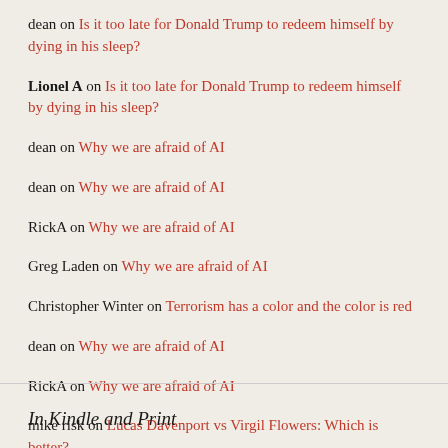dean on Is it too late for Donald Trump to redeem himself by dying in his sleep?
Lionel A on Is it too late for Donald Trump to redeem himself by dying in his sleep?
dean on Why we are afraid of AI
dean on Why we are afraid of AI
RickA on Why we are afraid of AI
Greg Laden on Why we are afraid of AI
Christopher Winter on Terrorism has a color and the color is red
dean on Why we are afraid of AI
RickA on Why we are afraid of AI
mike risk on Lucas Davenport vs Virgil Flowers: Which is better?
In Kindle and Print